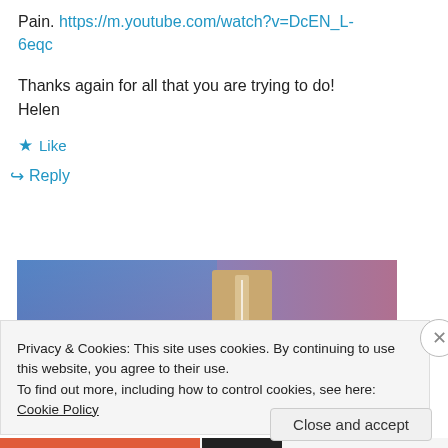Pain. https://m.youtube.com/watch?v=DcEN_L-6eqc
Thanks again for all that you are trying to do!
Helen
★ Like
↳ Reply
[Figure (photo): Gradient image with blue and purple tones and a beige/tan rectangular element in the center]
Privacy & Cookies: This site uses cookies. By continuing to use this website, you agree to their use.
To find out more, including how to control cookies, see here: Cookie Policy
Close and accept